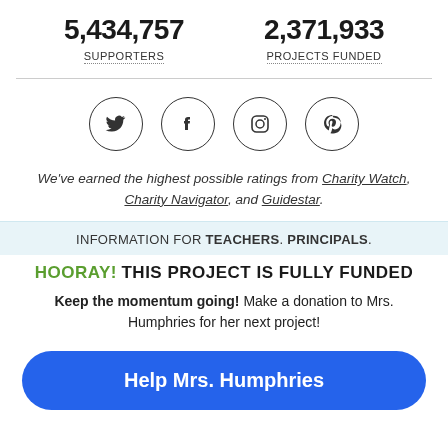5,434,757 SUPPORTERS
2,371,933 PROJECTS FUNDED
[Figure (infographic): Four social media icons in circles: Twitter, Facebook, Instagram, Pinterest]
We've earned the highest possible ratings from Charity Watch, Charity Navigator, and Guidestar.
INFORMATION FOR TEACHERS. PRINCIPALS.
HOORAY! THIS PROJECT IS FULLY FUNDED
Keep the momentum going! Make a donation to Mrs. Humphries for her next project!
Help Mrs. Humphries